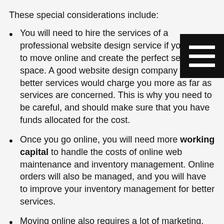These special considerations include:
You will need to hire the services of a professional website design service if you want to move online and create the perfect selling space. A good website design company with better services would charge you more as far as services are concerned. This is why you need to be careful, and should make sure that you have funds allocated for the cost.
Once you go online, you will need more working capital to handle the costs of online web maintenance and inventory management. Online orders will also be managed, and you will have to improve your inventory management for better services.
Moving online also requires a lot of marketing. You should properly advertise your shift to the